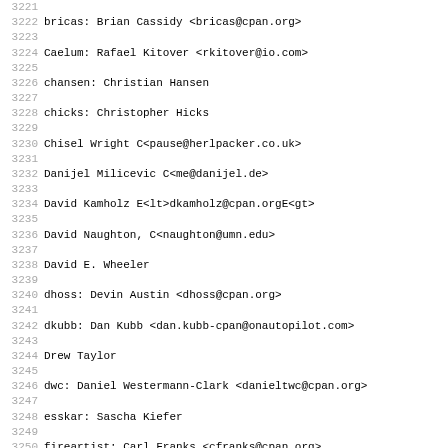3221
3222 bricas: Brian Cassidy <bricas@cpan.org>
3223
3224 Caelum: Rafael Kitover <rkitover@io.com>
3225
3226 chansen: Christian Hansen
3227
3228 chicks: Christopher Hicks
3229
3230 Chisel Wright C<pause@herlpacker.co.uk>
3231
3232 Danijel Milicevic C<me@danijel.de>
3233
3234 David Kamholz E<lt>dkamholz@cpan.orgE<gt>
3235
3236 David Naughton, C<naughton@umn.edu>
3237
3238 David E. Wheeler
3239
3240 dhoss: Devin Austin <dhoss@cpan.org>
3241
3242 dkubb: Dan Kubb <dan.kubb-cpan@onautopilot.com>
3243
3244 Drew Taylor
3245
3246 dwc: Daniel Westermann-Clark <danieltwc@cpan.org>
3247
3248 esskar: Sascha Kiefer
3249
3250 fireartist: Carl Franks <cfranks@cpan.org>
3251
3252 frew: Arthur Axel "fREW" Schmidt <frioux@gmail.com>
3253